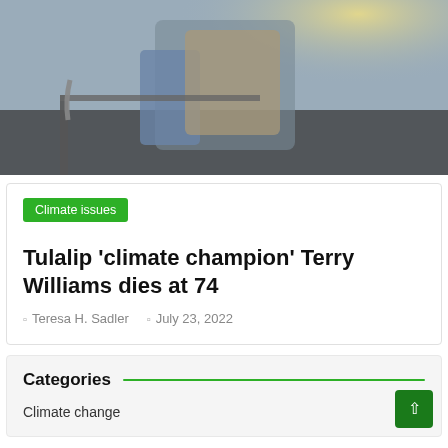[Figure (photo): Outdoor photo of a person wearing a vest and denim jacket, standing near what appears to be a boat or dock railing, with bright sunlight visible in the background.]
Climate issues
Tulalip 'climate champion' Terry Williams dies at 74
Teresa H. Sadler   July 23, 2022
Categories
Climate change